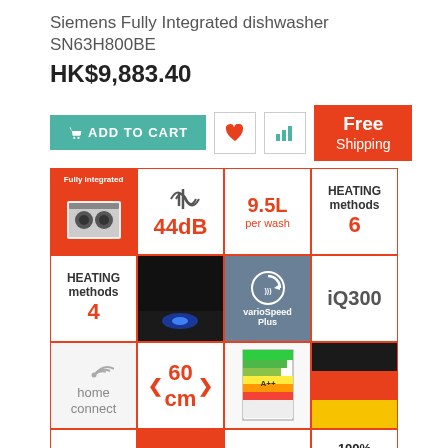Siemens Fully Integrated dishwasher SN63H800BE
HK$9,883.40
[Figure (infographic): Add to Cart button, heart icon, bar chart icon, and Free Shipping badge]
[Figure (infographic): Grid of product feature icons: Fully Integrated dishwasher image, 44dB sound level, 9.5L per wash, HEATING methods 6, HEATING methods 4, varioSpeed Plus image, iQ300 text, home connect icon, 60cm width, energy label, German flag, chef icon, Hong Kong flag, Warranty text, 100% TAX FREE badge, partial cell]